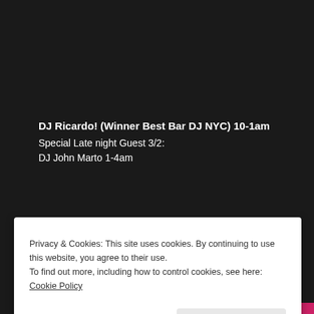DJ Ricardo! (Winner Best Bar DJ NYC) 10-1am
Special Late night Guest 3/2:
DJ John Marto 1-4am
The Monster NYC Downstairs (Winner Best Bar West Village)
Doors 10pm $5 drink specials all night!
[Figure (photo): A horizontal strip of colorful TV show / product images partially visible at the bottom of the dark background area]
Privacy & Cookies: This site uses cookies. By continuing to use this website, you agree to their use.
To find out more, including how to control cookies, see here: Cookie Policy
Close and accept